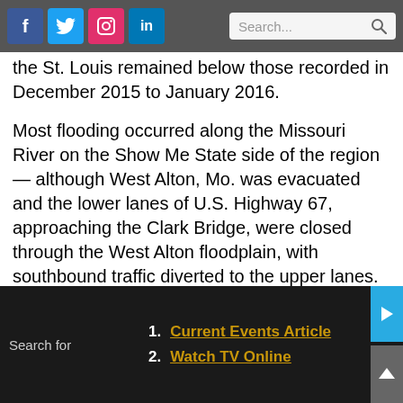Social media icons (Facebook, Twitter, Instagram, LinkedIn) and Search bar
the St. Louis remained below those recorded in December 2015 to January 2016.
Most flooding occurred along the Missouri River on the Show Me State side of the region — although West Alton, Mo. was evacuated and the lower lanes of U.S. Highway 67, approaching the Clark Bridge, were closed through the West Alton floodplain, with southbound traffic diverted to the upper lanes.
Flood watches and warnings across Metro East expired May 5.
Metro-East area fire departments and law enforcement agencies have
1. Current Events Article
2. Watch TV Online